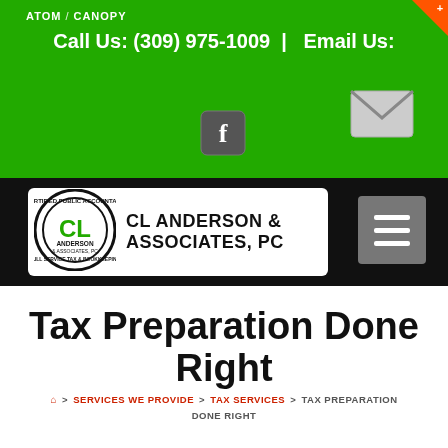ATOM / CANOPY
Call Us: (309) 975-1009  |  Email Us:
[Figure (logo): CL Anderson & Associates PC certified public accountant circular logo with 'CL' monogram, full service tax & bookkeeping]
Tax Preparation Done Right
Home > SERVICES WE PROVIDE > TAX SERVICES > TAX PREPARATION DONE RIGHT